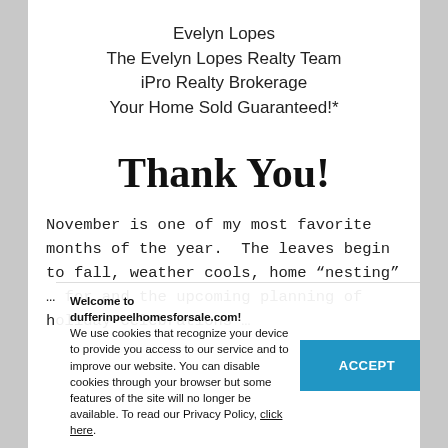Evelyn Lopes
The Evelyn Lopes Realty Team
iPro Realty Brokerage
Your Home Sold Guaranteed!*
Thank You!
November is one of my most favorite months of the year.  The leaves begin to fall, weather cools, home "nesting" ... for and the upcoming planning of holiday celebrations ...
Welcome to dufferinpeelhomesforsale.com!
We use cookies that recognize your device to provide you access to our service and to improve our website. You can disable cookies through your browser but some features of the site will no longer be available. To read our Privacy Policy, click here.